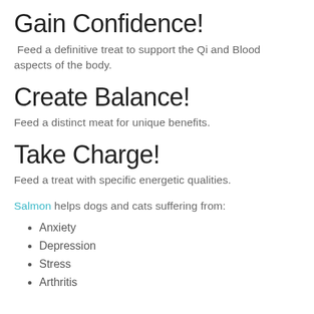Gain Confidence!
Feed a definitive treat to support the Qi and Blood aspects of the body.
Create Balance!
Feed a distinct meat for unique benefits.
Take Charge!
Feed a treat with specific energetic qualities.
Salmon helps dogs and cats suffering from:
Anxiety
Depression
Stress
Arthritis